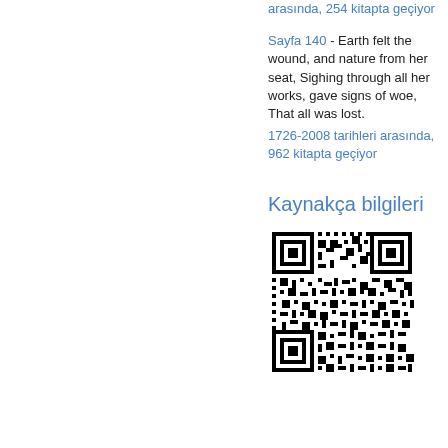arasında, 254 kitapta geçiyor
Sayfa 140 - Earth felt the wound, and nature from her seat, Sighing through all her works, gave signs of woe, That all was lost. 1726-2008 tarihleri arasında, 962 kitapta geçiyor
Kaynakça bilgileri
[Figure (other): QR code for bibliographic information]